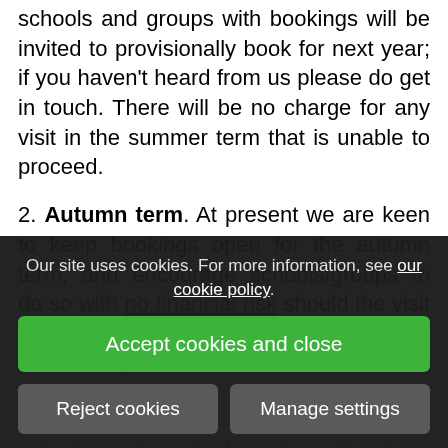schools and groups with bookings will be invited to provisionally book for next year; if you haven't heard from us please do get in touch. There will be no charge for any visit in the summer term that is unable to proceed.
2. Autumn term. At present we are keen to keep bookings open for the autumn term, and encourage schools/groups to do so with no financial risk should the visit not go ahead. When conditions allow, we aim to run programmes and numbers to meet school needs. If meeting the agreed minimum numbers is not possible we will only charge for actual numbers attending.
Our site uses cookies. For more information, see our cookie policy.
Accept cookies and close
Reject cookies
Manage settings